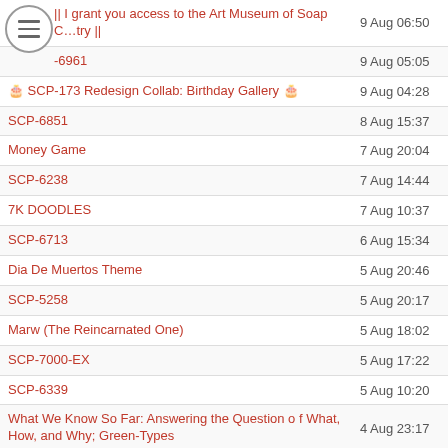| Title | Date | Count |
| --- | --- | --- |
| || I grant you access to the Art Museum of Soap Country || | 9 Aug 06:50 | 0 |
| -6961 | 9 Aug 05:05 | 7 |
| 🎂 SCP-173 Redesign Collab: Birthday Gallery 🎂 | 9 Aug 04:28 | 2 |
| SCP-6851 | 8 Aug 15:37 | 5 |
| Money Game | 7 Aug 20:04 | 6 |
| SCP-6238 | 7 Aug 14:44 | 32 |
| 7K DOODLES | 7 Aug 10:37 | 26 |
| SCP-6713 | 6 Aug 15:34 | 21 |
| Dia De Muertos Theme | 5 Aug 20:46 | 21 |
| SCP-5258 | 5 Aug 20:17 | 18 |
| Marw (The Reincarnated One) | 5 Aug 18:02 | 3 |
| SCP-7000-EX | 5 Aug 17:22 | 1 |
| SCP-6339 | 5 Aug 10:20 | 4 |
| What We Know So Far: Answering the Question of What, How, and Why; Green-Types | 4 Aug 23:17 | 12 |
| The Trainee Gets Trolled | 4 Aug 20:20 | 9 |
| SCP-6428 | 3 Aug 18:46 | 9 |
| nddragoon's cringe cave | 3 Aug 02:01 | 1 |
| Main Office (IV) | 3 Aug 00:58 | 2 |
| Magazine Theme | 2 Aug 08:47 | 4 |
| Top Rated Art | 2 Aug 06:32 | 1 |
| SCP-6752 | 2 Aug 03:45 | 6 |